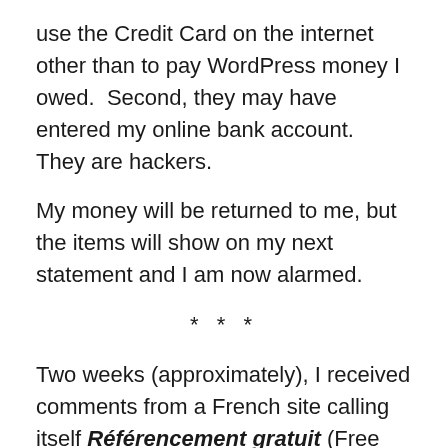use the Credit Card on the internet other than to pay WordPress money I owed.  Second, they may have entered my online bank account.  They are hackers.
My money will be returned to me, but the items will show on my next statement and I am now alarmed.
* * *
Two weeks (approximately), I received comments from a French site calling itself Référencement gratuit (Free reference).  Référencement would mean cataloguing.  I replied to these comments by explaining that if my posts were quoted, a source had to be given as the writer would otherwise be in violation of copyright laws.  I also feared they would make money using my posts.  A student would kill to have access to the blog I published yesterday.  It